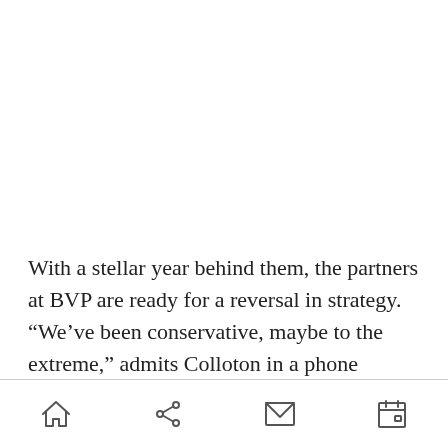With a stellar year behind them, the partners at BVP are ready for a reversal in strategy. “We’ve been conservative, maybe to the extreme,” admits Colloton in a phone interview. In the past, when a reporter would give him a call, he’d immediately direct them to the CEO of one of the firm’s portfolio
home share mail calendar